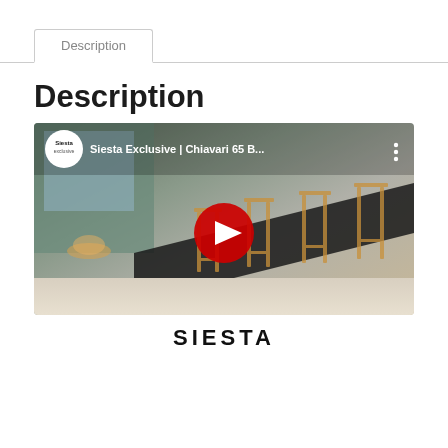Description
Description
[Figure (screenshot): YouTube video thumbnail showing Siesta Exclusive Chiavari 65 B... bar stools in a modern interior setting, with Siesta Exclusive logo and red YouTube play button overlay]
SIESTA